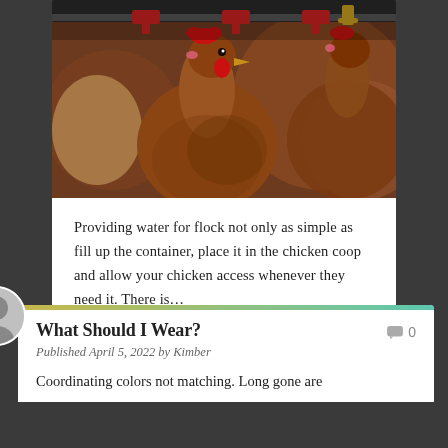[Figure (photo): Close-up photo of brown hens/chickens at a feeding/watering station with red metal clips and a metal bar above them. The chickens have orange-brown feathers and red combs.]
Providing water for flock not only as simple as fill up the container, place it in the chicken coop and allow your chicken access whenever they need it. There is…
What Should I Wear?
Published April 5, 2022 by Kimber
Coordinating colors not matching. Long gone are